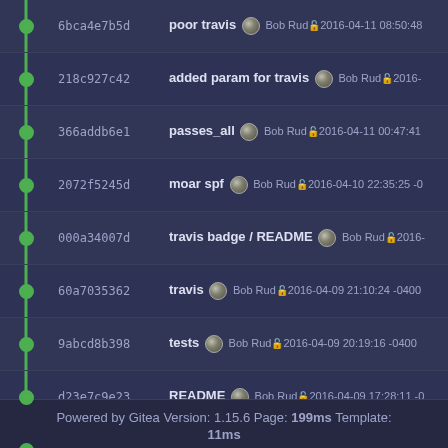[Figure (screenshot): Git commit history list with graph, showing commit hashes, messages, author avatars, and timestamps on a dark background]
Powered by Gitea Version: 1.15.6 Page: 199ms Template: 11ms